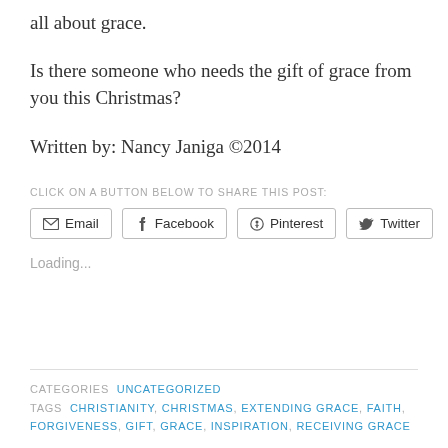all about grace.
Is there someone who needs the gift of grace from you this Christmas?
Written by: Nancy Janiga ©2014
CLICK ON A BUTTON BELOW TO SHARE THIS POST:
[Figure (other): Social share buttons: Email, Facebook, Pinterest, Twitter]
Loading...
CATEGORIES  UNCATEGORIZED
TAGS  CHRISTIANITY, CHRISTMAS, EXTENDING GRACE, FAITH, FORGIVENESS, GIFT, GRACE, INSPIRATION, RECEIVING GRACE